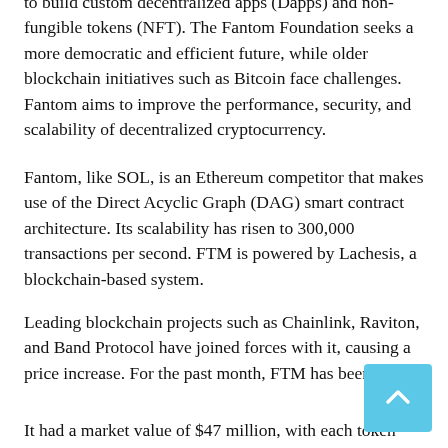to build custom decentralized apps (Dapps) and non-fungible tokens (NFT). The Fantom Foundation seeks a more democratic and efficient future, while older blockchain initiatives such as Bitcoin face challenges. Fantom aims to improve the performance, security, and scalability of decentralized cryptocurrency.
Fantom, like SOL, is an Ethereum competitor that makes use of the Direct Acyclic Graph (DAG) smart contract architecture. Its scalability has risen to 300,000 transactions per second. FTM is powered by Lachesis, a blockchain-based system.
Leading blockchain projects such as Chainlink, Raviton, and Band Protocol have joined forces with it, causing a price increase. For the past month, FTM has been rising
It had a market value of $47 million, with each token costing $0.0182. Six months later, FTM was the 92nd largest crypto asset, with a market value of $869 million